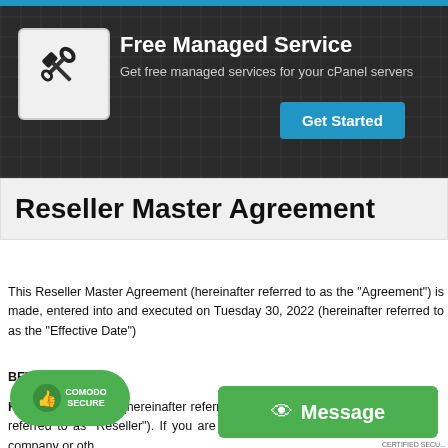[Figure (screenshot): Banner advertisement for Free Managed Service with tools icon, white title text, subtitle, and 'Get Started' blue button on dark wood-textured background]
Reseller Master Agreement
This Reseller Master Agreement (hereinafter referred to as the "Agreement") is made, entered into and executed on Tuesday 30, 2022 (hereinafter referred to as the "Effective Date")
BETWEEN:-
KREATION NEXT (hereinafter referred to as "Parent") and you (hereinafter referred to as "Reseller"). If you are signing this agreement on behalf of a company or oth... that you have the authority to bind such entity to the